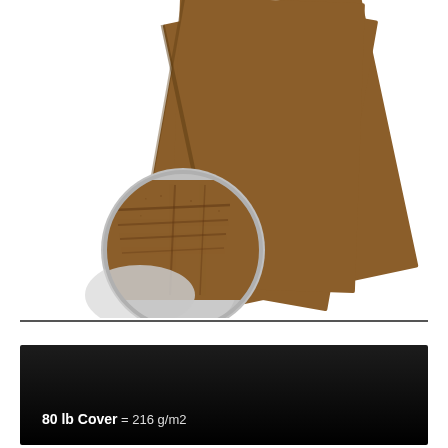[Figure (photo): Product photo of brown cover paper sheets fanned out, with a circular magnifier inset showing close-up texture of the paper surface with visible fibers and layered edges.]
80 lb Cover = 216 g/m2